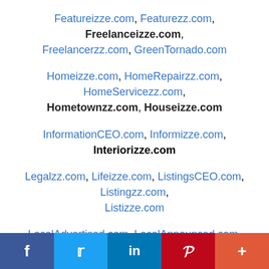Featureizze.com, Featurezz.com, Freelanceizze.com, Freelancerzz.com, GreenTornado.com
Homeizze.com, HomeRepairzz.com, HomeServicezz.com, Hometownzz.com, Houseizze.com
InformationCEO.com, Informizze.com, Interiorizze.com
Legalzz.com, Lifeizze.com, ListingsCEO.com, Listingzz.com, Listizze.com
LocalAdvertised.com, LocalAnnounced.com, LocalBranded.com, LocalBrowsed.com, LocalBundled.com, LocalCategories.com, LocalCentralized.com, LocalDigitalized.com, LocalDiscovered.com, LocalDisplayed.com, LocalExplored.com, LocalFeatured.com, LocalFollowed.com
f  Twitter  in  Pinterest  +